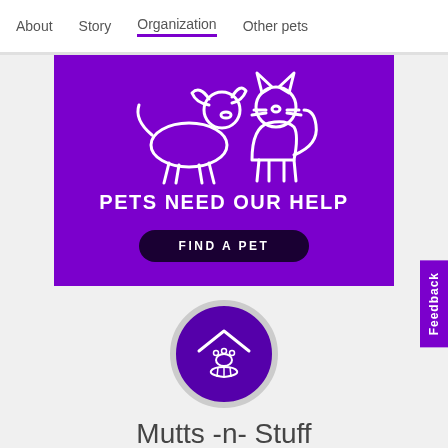About   Story   Organization   Other pets
[Figure (illustration): Purple banner with white outline dog and cat icons, bold text PETS NEED OUR HELP, and a dark Find a Pet button]
[Figure (logo): Purple circle with white icons of a house roof, paw print, and hand — Mutts -n- Stuff organization logo]
Mutts -n- Stuff
Saint Charles, MO